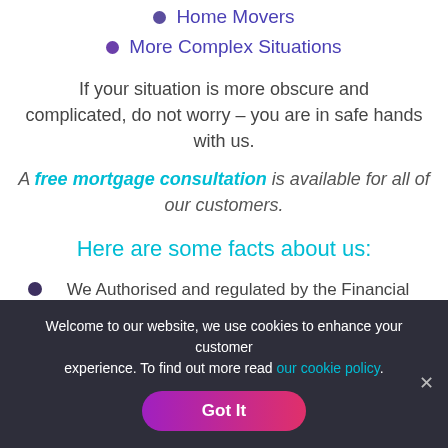Home Movers
More Complex Situations
If your situation is more obscure and complicated, do not worry – you are in safe hands with us.
A free mortgage consultation is available for all of our customers.
Here are some facts about us:
We Authorised and regulated by the Financial Conduct Authority
Welcome to our website, we use cookies to enhance your customer experience. To find out more read our cookie policy.